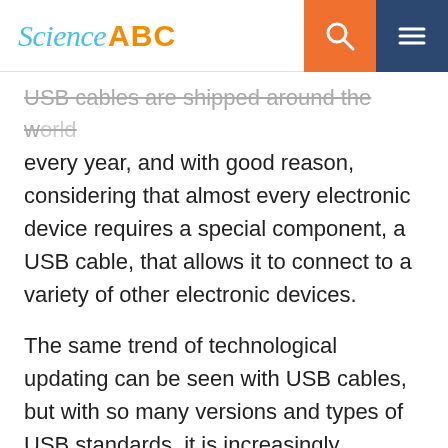Science ABC
USB cables are shipped around the world every year, and with good reason, considering that almost every electronic device requires a special component, a USB cable, that allows it to connect to a variety of other electronic devices.
The same trend of technological updating can be seen with USB cables, but with so many versions and types of USB standards, it is increasingly confusing to keep track of which USB standard has which features. To illustrate all this, let's take a look at some of the basics.